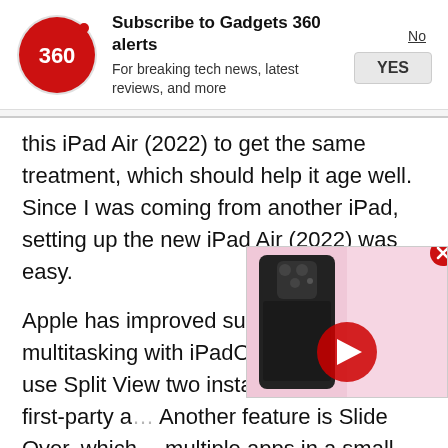[Figure (infographic): Gadgets 360 subscription notification banner with logo, title 'Subscribe to Gadgets 360 alerts', subtitle 'For breaking tech news, latest reviews, and more', and No/YES buttons]
this iPad Air (2022) to get the same treatment, which should help it age well. Since I was coming from another iPad, setting up the new iPad Air (2022) was easy.
Apple has improved support for multitasking with iPadOS 15. You can use Split View two instances of certain first-party a... Another feature is Slide Over, which multiple apps in a small windowed m... features are not brand new, but they are easier to
[Figure (screenshot): Video popup showing a dark smartphone with camera module, pink background, red play button overlay, and close X button]